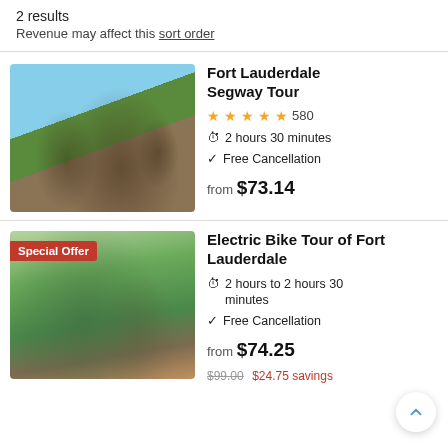2 results
Revenue may affect this sort order
Fort Lauderdale Segway Tour
★★★★★ 580
⏱ 2 hours 30 minutes
✓ Free Cancellation
from $73.14
[Figure (photo): Group of tourists on Segway tours in Fort Lauderdale outdoor area with buildings and palm trees in background]
Electric Bike Tour of Fort Lauderdale
⏱ 2 hours to 2 hours 30 minutes
✓ Free Cancellation
from $74.25
$99.00  $24.75 savings
[Figure (photo): Fort Lauderdale outdoor waterfront area with palm trees, pedestrian path, and lush greenery. Special Offer badge visible.]